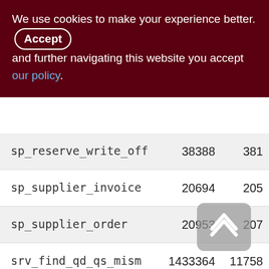We use cookies to make your experience better. By accepting and further navigating this website you accept our policy.
| name | col1 | col2 |
| --- | --- | --- |
| sp_reserve_write_off | 38388 | 381 |
| sp_supplier_invoice | 20694 | 205 |
| sp_supplier_order | 20953 | 207 |
| srv_find_qd_qs_mism | 1433364 | 11758 |
| srv_make_invnt_saldo | 2182 | 21 |
| srv_make_money_saldo | 2025 | 20 |